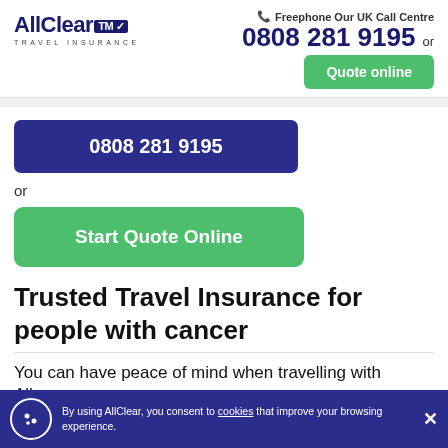[Figure (logo): AllClear Travel Insurance logo with checkmark]
Freephone Our UK Call Centre
0808 281 9195 or
Quote online
0808 281 9195
or
Start Quote Online
Trusted Travel Insurance for people with cancer
You can have peace of mind when travelling with AllClear, as our customers would
By using AllClear, you consent to cookies that improve your browsing experience.